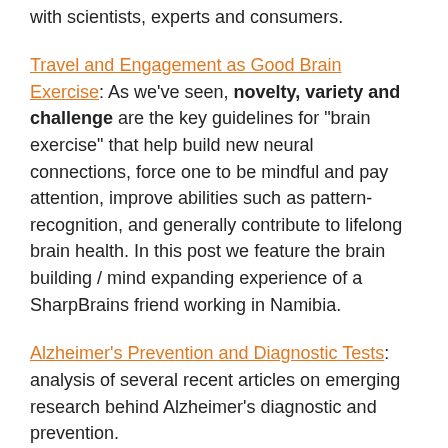with scientists, experts and consumers.
Travel and Engagement as Good Brain Exercise: As we’ve seen, novelty, variety and challenge are the key guidelines for “brain exercise” that help build new neural connections, force one to be mindful and pay attention, improve abilities such as pattern-recognition, and generally contribute to lifelong brain health. In this post we feature the brain building / mind expanding experience of a SharpBrains friend working in Namibia.
Alzheimer’s Prevention and Diagnostic Tests: analysis of several recent articles on emerging research behind Alzheimer’s diagnostic and prevention.
Corporate Wellness and Training